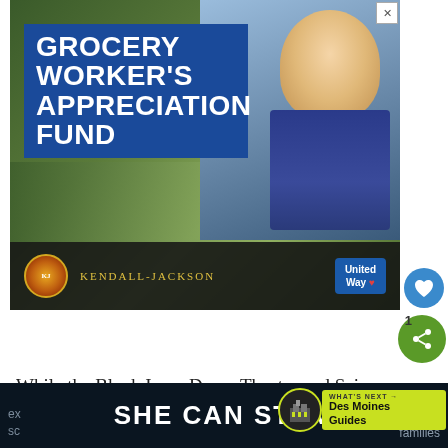[Figure (photo): Advertisement banner for Grocery Worker's Appreciation Fund featuring a smiling young male grocery worker in a store. Logos for Kendall-Jackson and United Way displayed at bottom. Large blue text block reads 'GROCERY WORKER'S APPRECIATION FUND'.]
While the Blank Imax Dome Theater and Science center experienced flood damage in 2008, it reopens, budding young Einsteins can enjoy
[Figure (infographic): What's Next widget showing Des Moines Guides with a circular city icon and yellow-green background.]
[Figure (infographic): Bottom advertisement banner for SHE CAN STEM on dark navy background with partial text 'ex', 'sc', 'bio', 'families' visible at edges.]